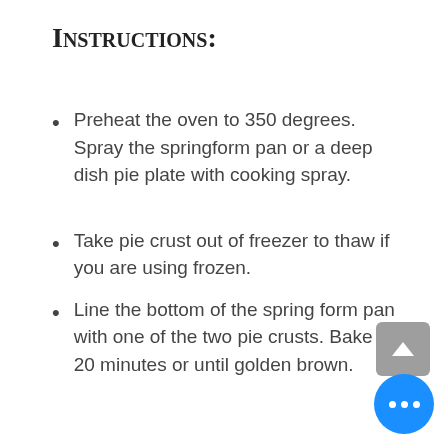Instructions:
Preheat the oven to 350 degrees. Spray the springform pan or a deep dish pie plate with cooking spray.
Take pie crust out of freezer to thaw if you are using frozen.
Line the bottom of the springform pan with one of the two pie crusts. Bake for 20 minutes or until golden brown.